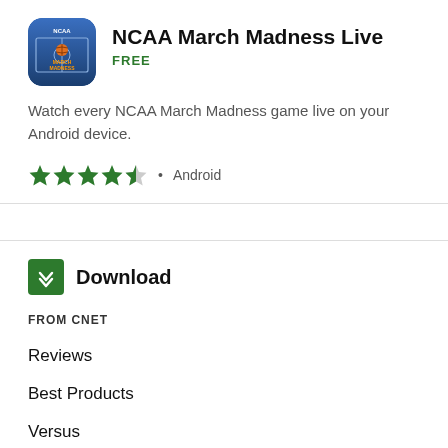NCAA March Madness Live
FREE
Watch every NCAA March Madness game live on your Android device.
★★★★½ • Android
Download
FROM CNET
Reviews
Best Products
Versus